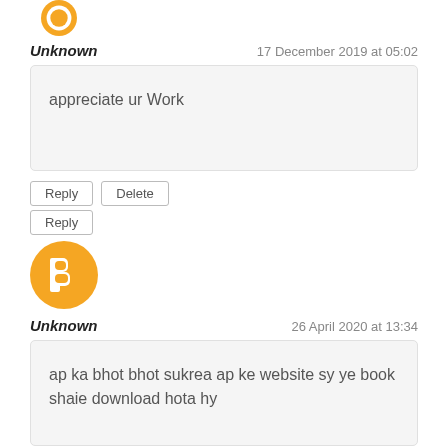[Figure (logo): Orange Blogger avatar icon, partially cropped at top]
Unknown
17 December 2019 at 05:02
appreciate ur Work
Reply
Delete
Reply
[Figure (logo): Orange Blogger avatar icon (B logo)]
Unknown
26 April 2020 at 13:34
ap ka bhot bhot sukrea ap ke website sy ye book shaie download hota hy
Reply
Delete
Reply